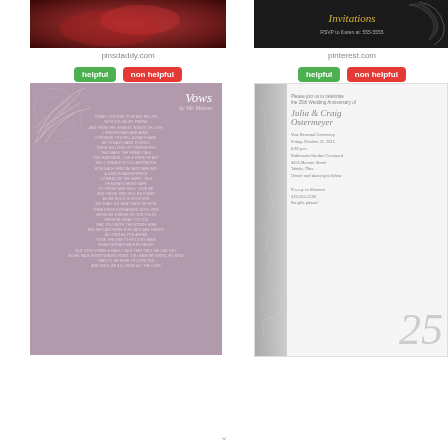[Figure (photo): Red/dark floral photo thumbnail for pinsdaddy.com]
[Figure (photo): Dark invitation design thumbnail for pinterest.com]
pinsdaddy.com
pinterest.com
helpful   non helpful
helpful   non helpful
[Figure (illustration): Purple/mauve Vows wedding card with floral leaf design and script text]
[Figure (illustration): White/silver 25th Wedding Anniversary vow renewal invitation for Julia & Craig Ostermeyer]